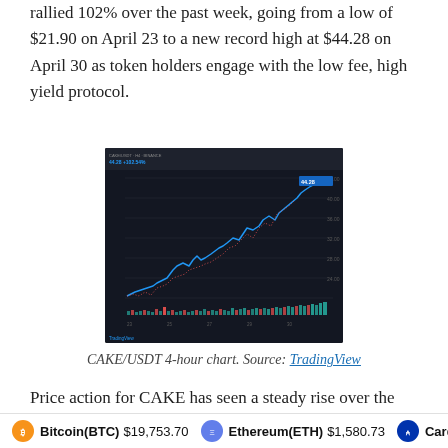rallied 102% over the past week, going from a low of $21.90 on April 23 to a new record high at $44.28 on April 30 as token holders engage with the low fee, high yield protocol.
[Figure (continuous-plot): CAKE/USDT 4-hour candlestick chart from TradingView showing a strong upward price trend with volume bars at the bottom. Price rises from approximately $21.90 to $44.28 over the period.]
CAKE/USDT 4-hour chart. Source: TradingView
Price action for CAKE has seen a steady rise over the past week following the launch of V2 farms on April 23 and the
Bitcoin(BTC) $19,753.70   Ethereum(ETH) $1,580.73   Cardan...